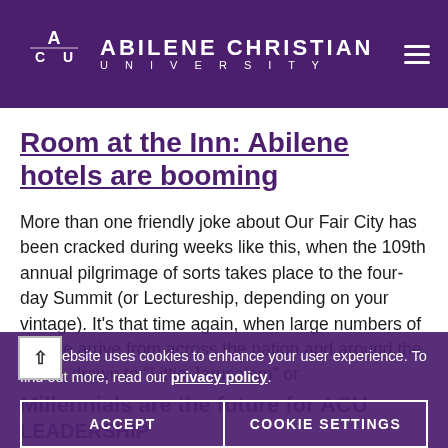Abilene Christian University
Room at the Inn: Abilene hotels are booming
More than one friendly joke about Our Fair City has been cracked during weeks like this, when the 109th annual pilgrimage of sorts takes place to the four-day Summit (or Lectureship, depending on your vintage). It’s that time again, when large numbers of people arrive from across the nation and around the world, drawn to “Little Jerusalem” or
This website uses cookies to enhance your user experience. To find out more, read our privacy policy.
ACCEPT
COOKIE SETTINGS